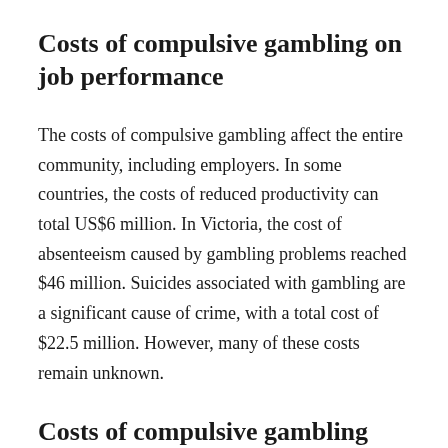Costs of compulsive gambling on job performance
The costs of compulsive gambling affect the entire community, including employers. In some countries, the costs of reduced productivity can total US$6 million. In Victoria, the cost of absenteeism caused by gambling problems reached $46 million. Suicides associated with gambling are a significant cause of crime, with a total cost of $22.5 million. However, many of these costs remain unknown.
Costs of compulsive gambling